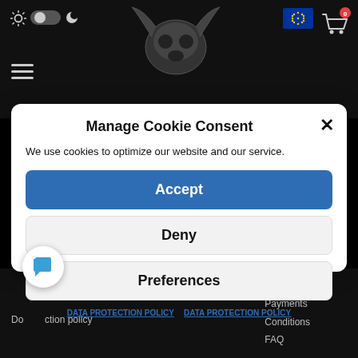[Figure (screenshot): Dark website header with sun/moon toggle, animal skull logo, EU flag, shopping cart icon, and hamburger menu]
Manage Cookie Consent
We use cookies to optimize our website and our service.
Accept
Deny
Preferences
DATA PROTECTION POLICY   DATA PROTECTION POLICY
Do  ction policy
Payments
Conditions
FAQ